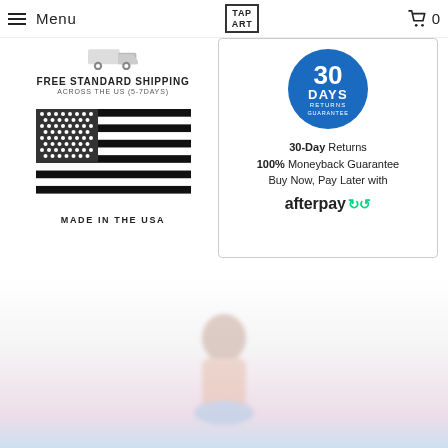Menu | TAP ART | 0
FREE STANDARD SHIPPING ACROSS THE US (5-7DAYS)
[Figure (illustration): Black and white American flag illustration with 'MADE IN THE USA' text below]
[Figure (infographic): 30-Day Returns Guarantee badge and afterpay logo. Text: 30-Day Returns, 100% Moneyback Guarantee, Buy Now, Pay Later with afterpay]
[Figure (photo): Blurry product image at bottom of page]